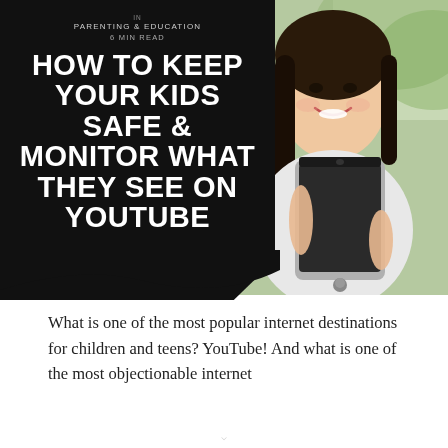[Figure (photo): Hero banner with black left panel and photo of a smiling young woman holding a tablet on the right]
IN
PARENTING & EDUCATION
6 MIN READ
HOW TO KEEP YOUR KIDS SAFE & MONITOR WHAT THEY SEE ON YOUTUBE
What is one of the most popular internet destinations for children and teens? YouTube! And what is one of the most objectionable internet